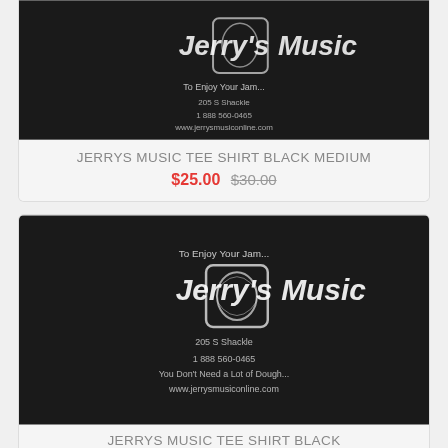[Figure (photo): Black Jerry's Music tee shirt, top portion cropped showing white logo]
JERRYS MUSIC TEE SHIRT BLACK MEDIUM
$25.00 $30.00
[Figure (photo): Black Jerry's Music tee shirt showing full front logo with Jerry's Music text and decorative design]
JERRYS MUSIC TEE SHIRT BLACK